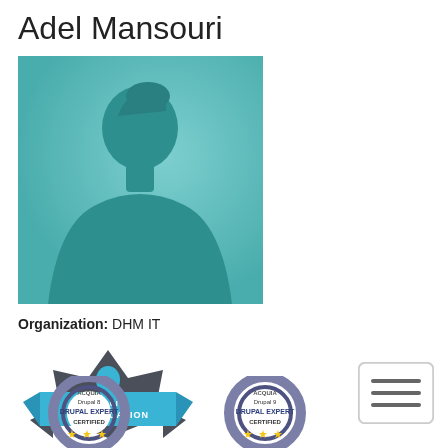Adel Mansouri
[Figure (photo): Generic silhouette profile photo placeholder with teal/turquoise gradient background]
Organization: DHM IT
[Figure (logo): Acquia Certification badge - blue ribbon/badge with ACQUIA CERTIFICATION text]
[Figure (logo): Hamburger menu icon button]
[Figure (logo): Acquia Drupal 8 Drupal Expert Certified badge with 3 stars]
[Figure (logo): Acquia Drupal 9 Drupal Expert Certified badge with 3 stars]